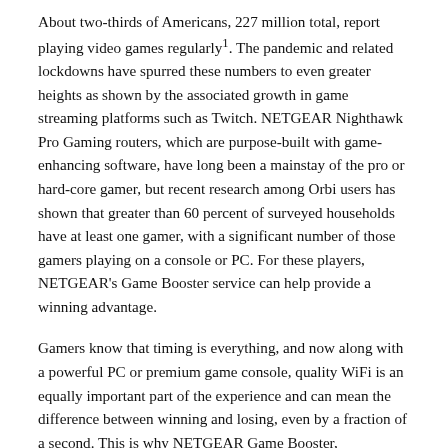About two-thirds of Americans, 227 million total, report playing video games regularly¹. The pandemic and related lockdowns have spurred these numbers to even greater heights as shown by the associated growth in game streaming platforms such as Twitch. NETGEAR Nighthawk Pro Gaming routers, which are purpose-built with game-enhancing software, have long been a mainstay of the pro or hard-core gamer, but recent research among Orbi users has shown that greater than 60 percent of surveyed households have at least one gamer, with a significant number of those gamers playing on a console or PC. For these players, NETGEAR's Game Booster service can help provide a winning advantage.
Gamers know that timing is everything, and now along with a powerful PC or premium game console, quality WiFi is an equally important part of the experience and can mean the difference between winning and losing, even by a fraction of a second. This is why NETGEAR Game Booster,